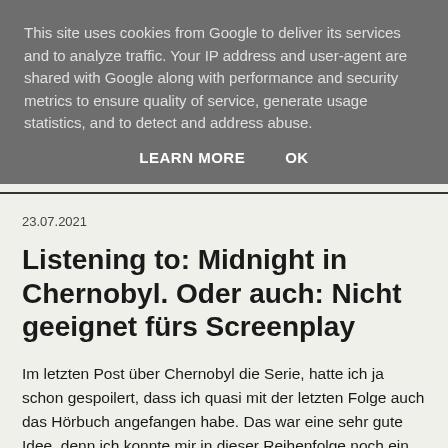This site uses cookies from Google to deliver its services and to analyze traffic. Your IP address and user-agent are shared with Google along with performance and security metrics to ensure quality of service, generate usage statistics, and to detect and address abuse.
LEARN MORE    OK
23.07.2021
Listening to: Midnight in Chernobyl. Oder auch: Nicht geeignet fürs Screenplay
Im letzten Post über Chernobyl die Serie, hatte ich ja schon gespoilert, dass ich quasi mit der letzten Folge auch das Hörbuch angefangen habe. Das war eine sehr gute Idee, denn ich konnte mir in dieser Reihenfolge noch ein paar Gedanken zur Screenplay Umsetzung machen und